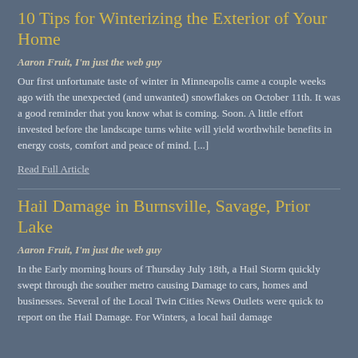10 Tips for Winterizing the Exterior of Your Home
Aaron Fruit, I'm just the web guy
Our first unfortunate taste of winter in Minneapolis came a couple weeks ago with the unexpected (and unwanted) snowflakes on October 11th. It was a good reminder that you know what is coming. Soon. A little effort invested before the landscape turns white will yield worthwhile benefits in energy costs, comfort and peace of mind. [...]
Read Full Article
Hail Damage in Burnsville, Savage, Prior Lake
Aaron Fruit, I'm just the web guy
In the Early morning hours of Thursday July 18th, a Hail Storm quickly swept through the souther metro causing Damage to cars, homes and businesses. Several of the Local Twin Cities News Outlets were quick to report on the Hail Damage. For Winters, a local hail damage